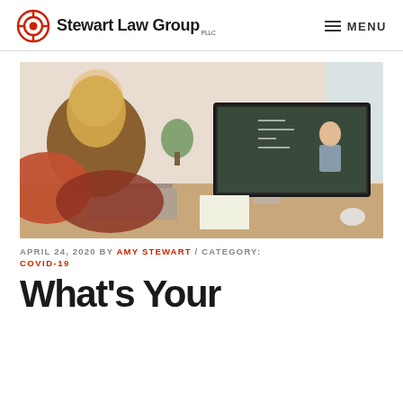Stewart Law Group PLLC | MENU
[Figure (photo): A woman with long blonde hair seen from behind, sitting at a desk and looking at a computer monitor displaying a teacher or presenter in front of a chalkboard. The desk has a keyboard, notebook, and other items.]
APRIL 24, 2020 BY AMY STEWART / CATEGORY: COVID-19
What's Your